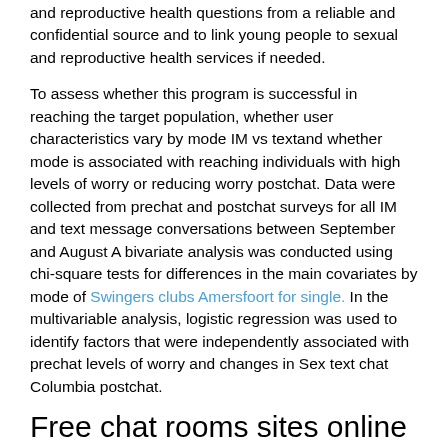and reproductive health questions from a reliable and confidential source and to link young people to sexual and reproductive health services if needed.
To assess whether this program is successful in reaching the target population, whether user characteristics vary by mode IM vs textand whether mode is associated with reaching individuals with high levels of worry or reducing worry postchat. Data were collected from prechat and postchat surveys for all IM and text message conversations between September and August A bivariate analysis was conducted using chi-square tests for differences in the main covariates by mode of Swingers clubs Amersfoort for single. In the multivariable analysis, logistic regression was used to identify factors that were independently associated with prechat levels of worry and changes in Sex text chat Columbia postchat.
Free chat rooms sites online
After controlling for the study covariates, there was no ificant difference in the odds of feeling better less worried postchat between IM and text message users. The from the process evaluation suggest that the program was able to provide